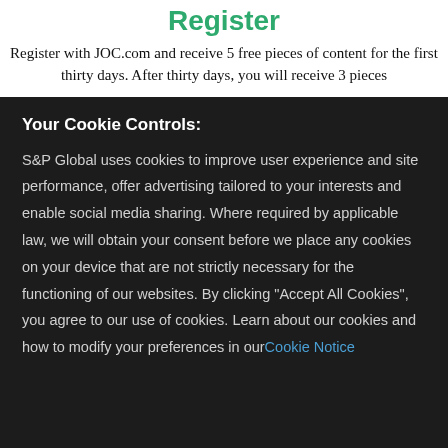Register
Register with JOC.com and receive 5 free pieces of content for the first thirty days. After thirty days, you will receive 3 pieces
Your Cookie Controls:
S&P Global uses cookies to improve user experience and site performance, offer advertising tailored to your interests and enable social media sharing. Where required by applicable law, we will obtain your consent before we place any cookies on your device that are not strictly necessary for the functioning of our websites. By clicking "Accept All Cookies", you agree to our use of cookies. Learn about our cookies and how to modify your preferences in our Cookie Notice